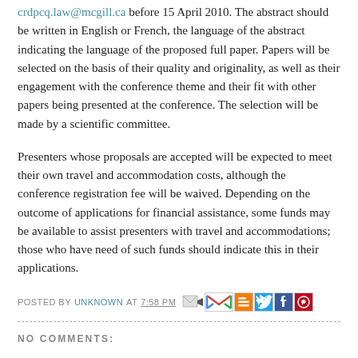crdpcq.law@mcgill.ca before 15 April 2010. The abstract should be written in English or French, the language of the abstract indicating the language of the proposed full paper. Papers will be selected on the basis of their quality and originality, as well as their engagement with the conference theme and their fit with other papers being presented at the conference. The selection will be made by a scientific committee.
Presenters whose proposals are accepted will be expected to meet their own travel and accommodation costs, although the conference registration fee will be waived. Depending on the outcome of applications for financial assistance, some funds may be available to assist presenters with travel and accommodations; those who have need of such funds should indicate this in their applications.
POSTED BY UNKNOWN AT 7:58 PM
NO COMMENTS:
POST A COMMENT
To leave a comment, click the button below to sign in